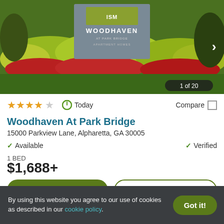[Figure (photo): Exterior photo of Woodhaven At Park Bridge apartment community sign with colorful landscaping including red and yellow flowers and green lawn. A right arrow navigation button is visible on the right side. Counter '1 of 20' shown in bottom right.]
★★★★☆  Today  Compare □
Woodhaven At Park Bridge
15000 Parkview Lane, Alpharetta, GA 30005
✓ Available    ✓ Verified
1 BED
$1,688+
View Details   Contact Property
By using this website you agree to our use of cookies as described in our cookie policy.